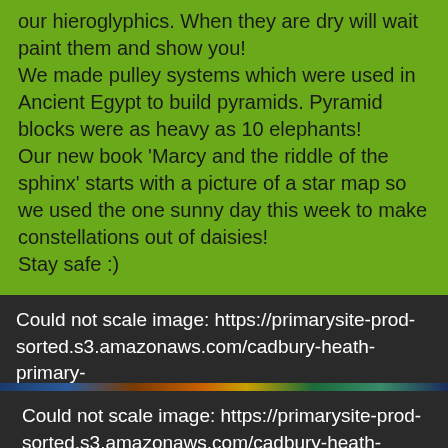our hieroglyphics. When they are dry will wait paint them and show you!
We made pulley systems which were used in Ancient Egypt to build pyramids. Pyramid blocks were as heavy as 10 elephants!
Our new book 'Marcy and the riddle of the sphinx' starts with a picture of a star map so we used the one sunny day this week to make constellations out of daisies!
Stay safe :)
[Figure (other): Could not scale image: https://primarysite-prod-sorted.s3.amazonaws.com/cadbury-heath-primary-school/UploadedImage/033bead6782e4a60acb733620ad91d...]
[Figure (other): Could not scale image: https://primarysite-prod-sorted.s3.amazonaws.com/cadbury-heath-primary-school/UploadedImage/5bde131bfc23466ebb739b8f518c3ef...]